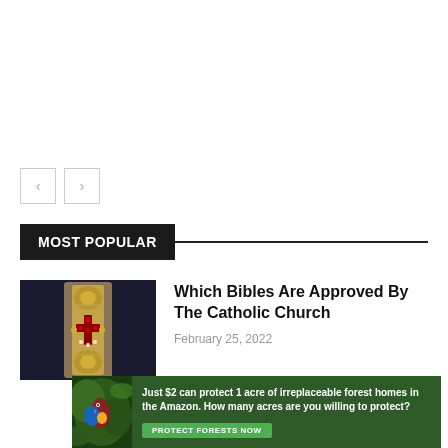[Figure (other): Navigation previous and next arrow buttons (outlined squares with < and > arrows)]
MOST POPULAR
[Figure (photo): Ornate decorative Bible cover or religious artifact with intricate gold metalwork and red gemstones on dark background]
Which Bibles Are Approved By The Catholic Church
February 25, 2022
[Figure (other): Advertisement banner: Just $2 can protect 1 acre of irreplaceable forest homes in the Amazon. How many acres are you willing to protect? PROTECT FORESTS NOW]